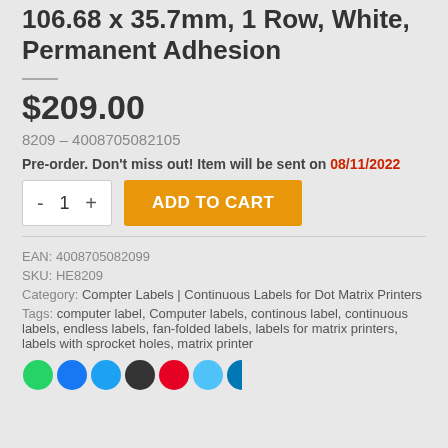106.68 x 35.7mm, 1 Row, White, Permanent Adhesion
$209.00
8209 – 4008705082105
Pre-order. Don't miss out! Item will be sent on 08/11/2022
EAN: 4008705082099
SKU: HE8209
Category: Compter Labels | Continuous Labels for Dot Matrix Printers
Tags: computer label, Computer labels, continous label, continuous labels, endless labels, fan-folded labels, labels for matrix printers, labels with sprocket holes, matrix printer